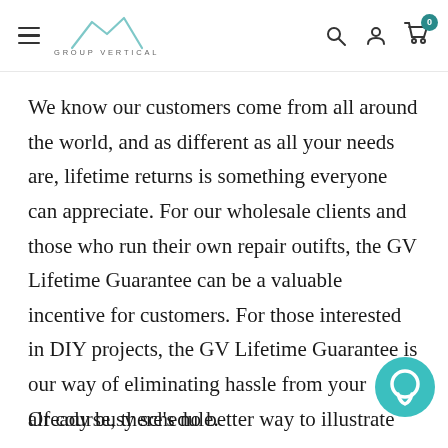GROUP VERTICAL — navigation bar with hamburger menu, logo, search, account, and cart icons
We know our customers come from all around the world, and as different as all your needs are, lifetime returns is something everyone can appreciate. For our wholesale clients and those who run their own repair outifts, the GV Lifetime Guarantee can be a valuable incentive for customers. For those interested in DIY projects, the GV Lifetime Guarantee is our way of eliminating hassle from your already busy schedule.
Of course, there's no better way to illustrate our